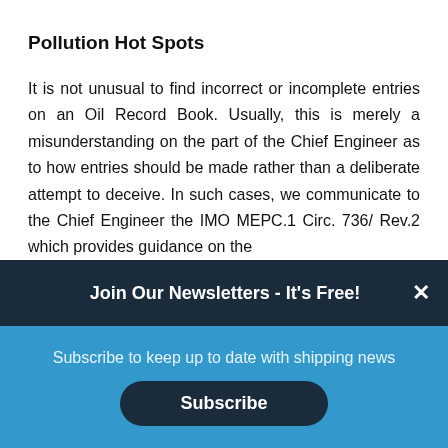Pollution Hot Spots
It is not unusual to find incorrect or incomplete entries on an Oil Record Book. Usually, this is merely a misunderstanding on the part of the Chief Engineer as to how entries should be made rather than a deliberate attempt to deceive. In such cases, we communicate to the Chief Engineer the IMO MEPC.1 Circ. 736/ Rev.2 which provides guidance on the
Join Our Newsletters - It's Free!
Subscribe to keep up to date with shipping news
Subscribe